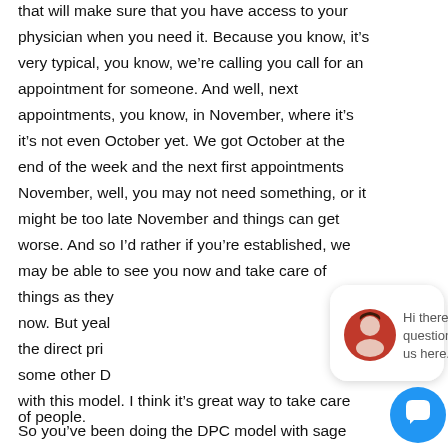that will make sure that you have access to your physician when you need it. Because you know, it's very typical, you know, we're calling you call for an appointment for someone. And well, next appointments, you know, in November, where it's it's not even October yet. We got October at the end of the week and the next first appointments November, well, you may not need something, or it might be too late November and things can get worse. And so I'd rather if you're established, we may be able to see you now and take care of things as they come, you know, right now. But yeah, I think what I love about the direct primary care model, compared to some other DPCs, I've had great experiences with this model. I think it's great way to take care of people. So you've been doing the DPC model with sage six months, you said six months like that. So I have... and I kind of mentioned earlier that some of
[Figure (other): Chat popup overlay with avatar photo of a woman and text 'Hi there, have a question? Text us here.' with a close button and a blue circular chat icon button.]